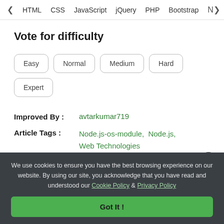< HTML  CSS  JavaScript  jQuery  PHP  Bootstrap  N>
Vote for difficulty
Easy  Normal  Medium  Hard  Expert
Improved By : avtarkumar719
Article Tags : Node.js-os-module,  Node.js,  Web Technologies
We use cookies to ensure you have the best browsing experience on our website. By using our site, you acknowledge that you have read and understood our Cookie Policy & Privacy Policy
Got It !